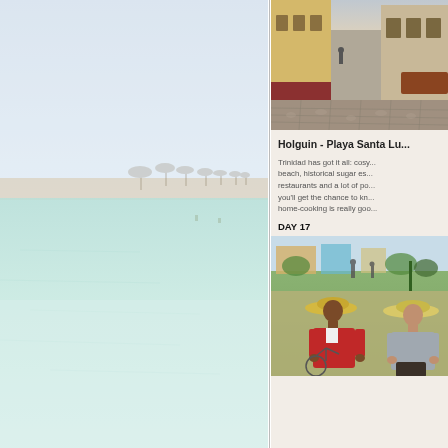[Figure (photo): Beach scene with pale turquoise water, white sand, and palm trees along the shoreline in the distance. Very light, hazy daytime atmosphere.]
[Figure (photo): Cobblestone street in Trinidad, Cuba, with colorful colonial buildings on either side and a person walking in the distance.]
Holguin - Playa Santa Lu...
Trinidad has got it all: cosy... beach, historical sugar es... restaurants and a lot of po... you'll get the chance to kn... home-cooking is really goo...
DAY 17
[Figure (photo): Two people wearing wide-brimmed straw hats sitting outdoors in a park or plaza in Cuba. One in a red shirt, one in a grey shirt. A bicycle is visible nearby.]